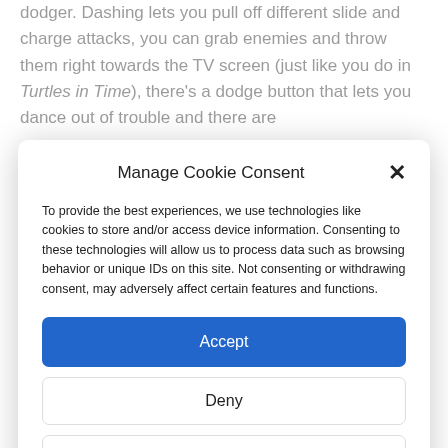dodger. Dashing lets you pull off different slide and charge attacks, you can grab enemies and throw them right towards the TV screen (just like you do in Turtles in Time), there's a dodge button that lets you dance out of trouble and there are
Manage Cookie Consent
To provide the best experiences, we use technologies like cookies to store and/or access device information. Consenting to these technologies will allow us to process data such as browsing behavior or unique IDs on this site. Not consenting or withdrawing consent, may adversely affect certain features and functions.
Accept
Deny
View preferences
Cookie Policy